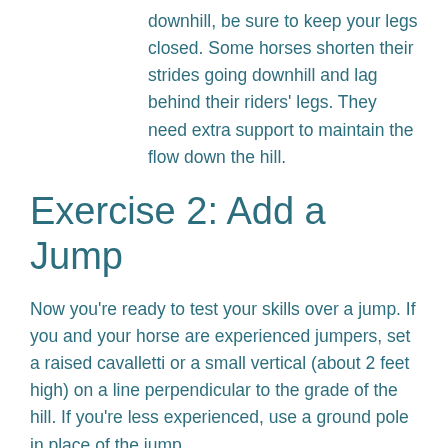downhill, be sure to keep your legs closed. Some horses shorten their strides going downhill and lag behind their riders' legs. They need extra support to maintain the flow down the hill.
Exercise 2: Add a Jump
Now you're ready to test your skills over a jump. If you and your horse are experienced jumpers, set a raised cavalletti or a small vertical (about 2 feet high) on a line perpendicular to the grade of the hill. If you're less experienced, use a ground pole in place of the jump.